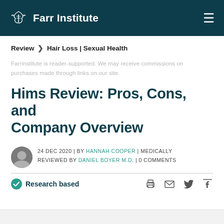Farr Institute
Review > Hair Loss | Sexual Health
Farrinstitute is reader-supported. We may receive commissions on purchases made through links on our site.
Hims Review: Pros, Cons, and Company Overview
24 DEC 2020 | BY Hannah Cooper | MEDICALLY REVIEWED BY Daniel Boyer M.D. | 0 COMMENTS
Research based